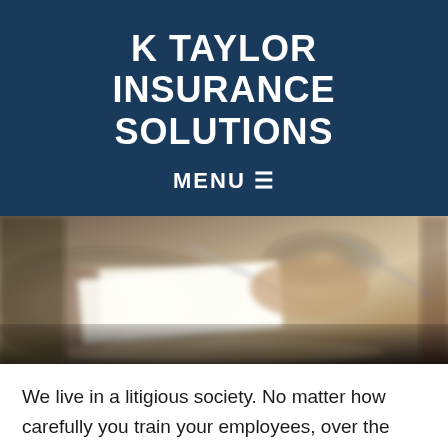K TAYLOR INSURANCE SOLUTIONS
MENU ☰
[Figure (photo): Blurred photo of two people signing documents on a dark table surface, hands holding pens over white paper]
We live in a litigious society. No matter how carefully you train your employees, over the course of doing business it wouldn't be rare to be facing a